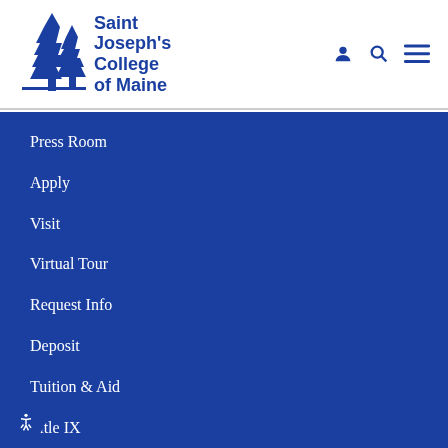[Figure (logo): Saint Joseph's College of Maine logo with two pine trees in blue and bold blue text]
Press Room
Apply
Visit
Virtual Tour
Request Info
Deposit
Tuition & Aid
Title IX
Campus Store
Campus Health Dashboard